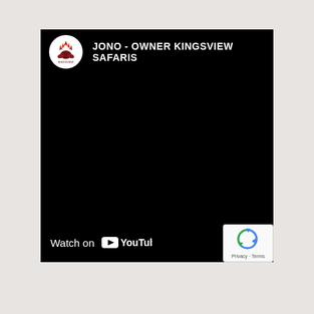[Figure (screenshot): YouTube video embed showing a black video frame with Kingsview Safaris channel logo and title 'JONO - OWNER KINGSVIEW SAFARIS' at top, and a 'Watch on YouTube' button at bottom left, with a reCAPTCHA badge at bottom right.]